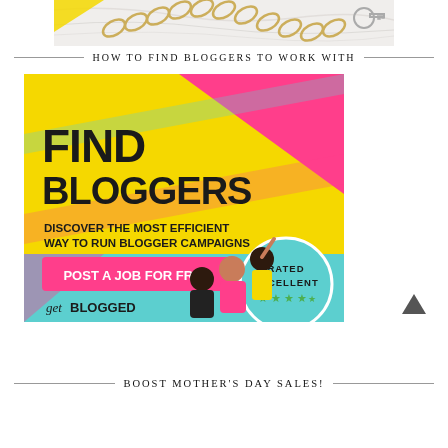[Figure (photo): Partial top of jewelry image showing gold chain and marble background]
HOW TO FIND BLOGGERS TO WORK WITH
[Figure (infographic): GetBlogged advertisement banner: Find Bloggers - Discover the most efficient way to run blogger campaigns - Post a job for free - Rated Excellent with 5 stars]
BOOST MOTHER'S DAY SALES!